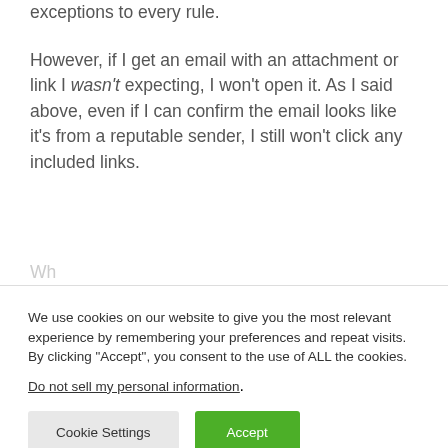exceptions to every rule.
However, if I get an email with an attachment or link I wasn't expecting, I won't open it. As I said above, even if I can confirm the email looks like it's from a reputable sender, I still won't click any included links.
We use cookies on our website to give you the most relevant experience by remembering your preferences and repeat visits. By clicking “Accept”, you consent to the use of ALL the cookies.
Do not sell my personal information.